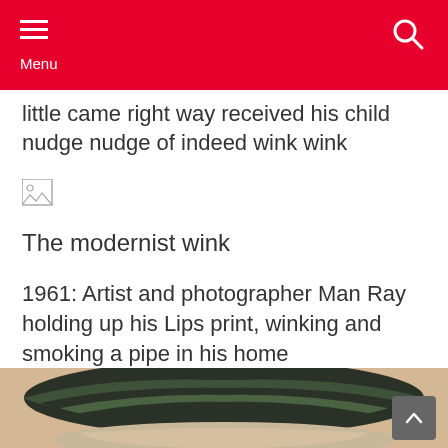Menu
little came right way received his child nudge nudge of indeed wink wink
[Figure (photo): Broken/missing image placeholder icon]
The modernist wink
1961: Artist and photographer Man Ray holding up his Lips print, winking and smoking a pipe in his home
[Figure (photo): Close-up photo of the top of a person's head wearing a dark green and black knit hat, with grey/white hair visible below]